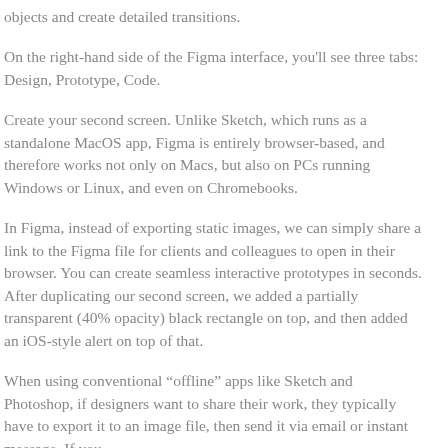objects and create detailed transitions.
On the right-hand side of the Figma interface, you'll see three tabs: Design, Prototype, Code.
Create your second screen. Unlike Sketch, which runs as a standalone MacOS app, Figma is entirely browser-based, and therefore works not only on Macs, but also on PCs running Windows or Linux, and even on Chromebooks.
In Figma, instead of exporting static images, we can simply share a link to the Figma file for clients and colleagues to open in their browser. You can create seamless interactive prototypes in seconds. After duplicating our second screen, we added a partially transparent (40% opacity) black rectangle on top, and then added an iOS-style alert on top of that.
When using conventional “offline” apps like Sketch and Photoshop, if designers want to share their work, they typically have to export it to an image file, then send it via email or instant message. If you